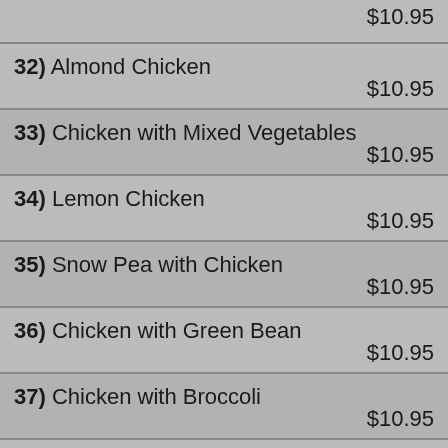$10.95
32) Almond Chicken $10.95
33) Chicken with Mixed Vegetables $10.95
34) Lemon Chicken $10.95
35) Snow Pea with Chicken $10.95
36) Chicken with Green Bean $10.95
37) Chicken with Broccoli $10.95
38) Moo Goo Gai Pan — Chicken with Vegetables in White Sauce $10.95
39) Chicken with Black Bean Sauce